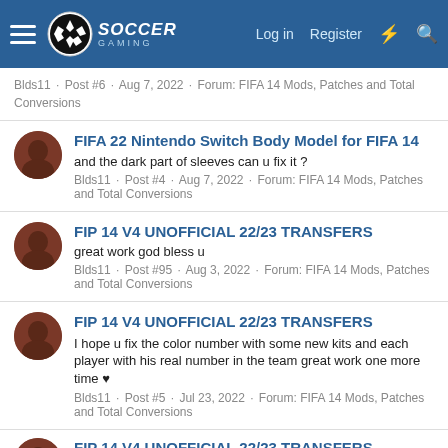Soccer Gaming — Log in | Register
Blds11 · Post #6 · Aug 7, 2022 · Forum: FIFA 14 Mods, Patches and Total Conversions
FIFA 22 Nintendo Switch Body Model for FIFA 14
and the dark part of sleeves can u fix it ?
Blds11 · Post #4 · Aug 7, 2022 · Forum: FIFA 14 Mods, Patches and Total Conversions
FIP 14 V4 UNOFFICIAL 22/23 TRANSFERS
great work god bless u
Blds11 · Post #95 · Aug 3, 2022 · Forum: FIFA 14 Mods, Patches and Total Conversions
FIP 14 V4 UNOFFICIAL 22/23 TRANSFERS
I hope u fix the color number with some new kits and each player with his real number in the team great work one more time ♥
Blds11 · Post #5 · Jul 23, 2022 · Forum: FIFA 14 Mods, Patches and Total Conversions
FIP 14 V4 UNOFFICIAL 22/23 TRANSFERS